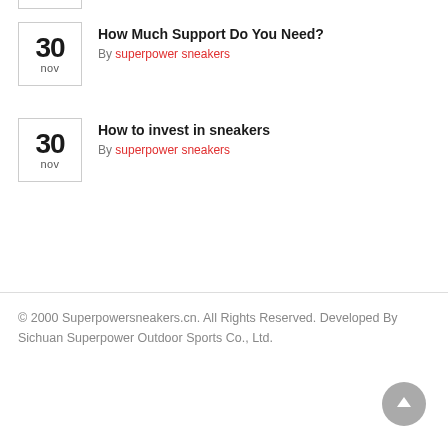30 nov — How Much Support Do You Need? By superpower sneakers
30 nov — How to invest in sneakers By superpower sneakers
© 2000 Superpowersneakers.cn. All Rights Reserved. Developed By Sichuan Superpower Outdoor Sports Co., Ltd.